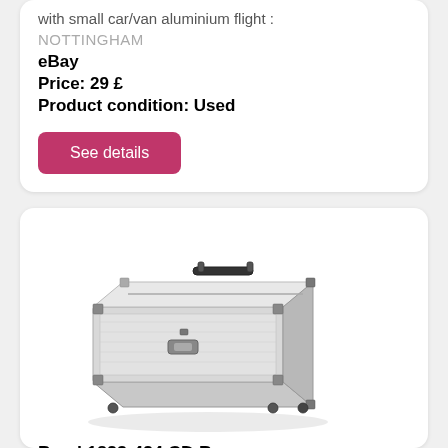with small car/van aluminium flight :
NOTTINGHAM
eBay
Price: 29 £
Product condition: Used
See details
[Figure (photo): Silver aluminium flight case / CD box with black corner brackets, handle on top, and latches on the front. Angled 3D view.]
Perel 1823-424 CD Box